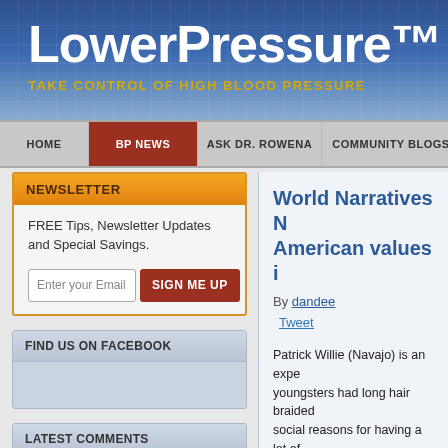LowerPressure™
TAKE CONTROL OF HIGH BLOOD PRESSURE
HOME | BP NEWS | ASK DR. ROWENA | COMMUNITY BLOGS
NEWSLETTER
FREE Tips, Newsletter Updates and Special Savings.
FIND US ON FACEBOOK
LATEST COMMENTS
World Narratives N... American values i...
By dandee
Tweet
Patrick Willie (Navajo) is an expe... youngsters had long hair braided... social reasons for having a lot of... their moms and dads. The brand... senior school lastly led Willie to r...
Predicated on Willie, going to uni...